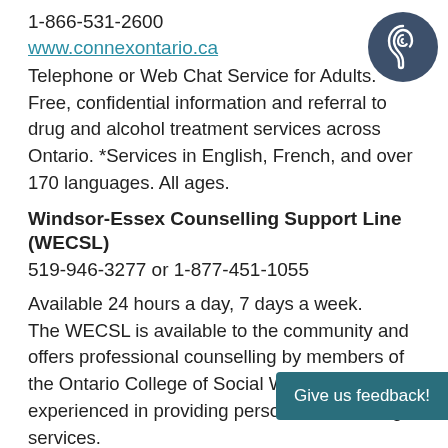1-866-531-2600
www.connexontario.ca
Telephone or Web Chat Service for Adults. Free, confidential information and referral to drug and alcohol treatment services across Ontario. *Services in English, French, and over 170 languages. All ages.
[Figure (illustration): Dark blue circle with a white ear icon inside, representing hearing/listening accessibility symbol]
Windsor-Essex Counselling Support Line (WECSL)
519-946-3277 or 1-877-451-1055
Available 24 hours a day, 7 days a week.
The WECSL is available to the community and offers professional counselling by members of the Ontario College of Social Workers, who are experienced in providing personal counselling services.
CACCF Telemedicine Addiction Counselling
Canadian Addictions Counsellors Certification Federation is currently offering online addiction counselling sessions and are available FREE of
Give us feedback!